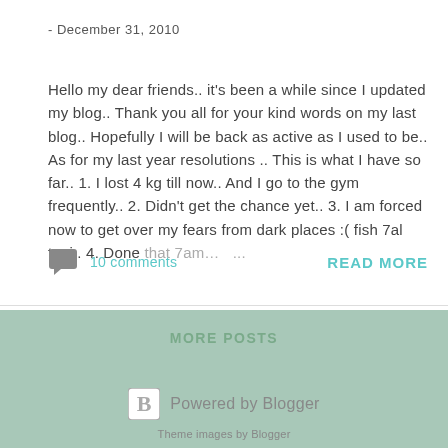- December 31, 2010
Hello my dear friends.. it's been a while since I updated my blog.. Thank you all for your kind words on my last blog.. Hopefully I will be back as active as I used to be.. As for my last year resolutions .. This is what I have so far.. 1. I lost 4 kg till now.. And I go to the gym frequently.. 2. Didn't get the chance yet.. 3. I am forced now to get over my fears from dark places :( fish 7al tani.. 4. Done that 7am…   ...
10 comments
READ MORE
MORE POSTS
Powered by Blogger
Theme images by Blogger